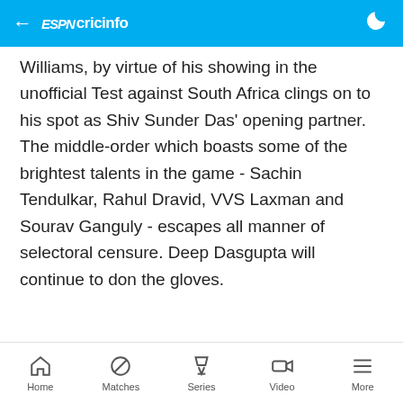ESPN cricinfo
Williams, by virtue of his showing in the unofficial Test against South Africa clings on to his spot as Shiv Sunder Das' opening partner. The middle-order which boasts some of the brightest talents in the game - Sachin Tendulkar, Rahul Dravid, VVS Laxman and Sourav Ganguly - escapes all manner of selectoral censure. Deep Dasgupta will continue to don the gloves.
[Figure (photo): Sarandeep Singh player image (broken/loading)]
Home  Matches  Series  Video  More